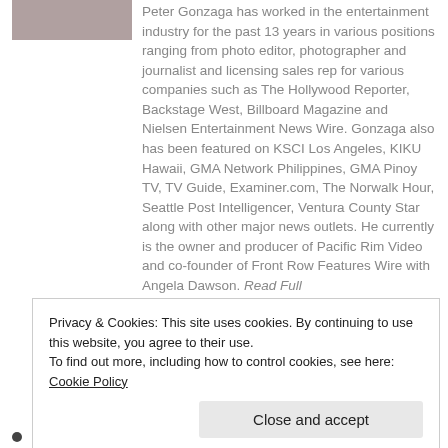[Figure (photo): Partial headshot photo of Peter Gonzaga, showing lower face/chin area]
Peter Gonzaga has worked in the entertainment industry for the past 13 years in various positions ranging from photo editor, photographer and journalist and licensing sales rep for various companies such as The Hollywood Reporter, Backstage West, Billboard Magazine and Nielsen Entertainment News Wire. Gonzaga also has been featured on KSCI Los Angeles, KIKU Hawaii, GMA Network Philippines, GMA Pinoy TV, TV Guide, Examiner.com, The Norwalk Hour, Seattle Post Intelligencer, Ventura County Star along with other major news outlets. He currently is the owner and producer of Pacific Rim Video and co-founder of Front Row Features Wire with Angela Dawson. Read Full
Privacy & Cookies: This site uses cookies. By continuing to use this website, you agree to their use.
To find out more, including how to control cookies, see here: Cookie Policy
Close and accept
Photos: 'Symphony for a Massacre' and '1883'